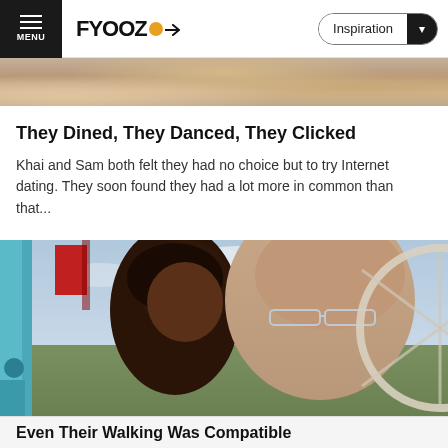MENU | FYOOZ | Inspiration
[Figure (photo): Partial view of a couple photo at the top, cropped to just show tops of heads and shoulders.]
They Dined, They Danced, They Clicked
Khai and Sam both felt they had no choice but to try Internet dating. They soon found they had a lot more in common than that...
[Figure (photo): Interracial couple smiling together, appearing to be on a Ferris wheel or similar carnival ride with teal-colored gondola frame. Woman is Black with dark hair, man is white with glasses and salt-and-pepper hair. Background shows cloudy sky and a fairground scene.]
Even Their Walking Was Compatible